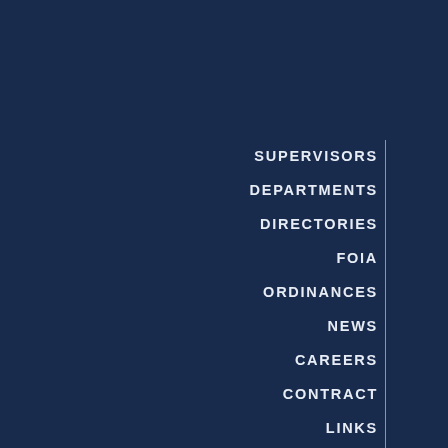SUPERVISORS
DEPARTMENTS
DIRECTORIES
FOIA
ORDINANCES
NEWS
CAREERS
CONTRACT
LINKS
EVENTS
VISIT US